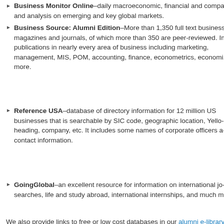Business Monitor Online–daily macroeconomic, financial and company news and analysis on emerging and key global markets.
Business Source: Alumni Edition–More than 1,350 full text business magazines and journals, of which more than 350 are peer-reviewed. Includes publications in nearly every area of business including marketing, management, MIS, POM, accounting, finance, econometrics, economics, and more.
Reference USA–database of directory information for 12 million US businesses that is searchable by SIC code, geographic location, Yellow Pages heading, company, etc. It includes some names of corporate officers as well as contact information.
GoingGlobal–an excellent resource for information on international job searches, life and study abroad, international internships, and much more.
We also provide links to free or low cost databases in our alumni e-library.
Posted by Paula Robinson in Featured Resources | No Comments »
Tags: Job Search, Library Databases
New Database: Guidestar Premium
Monday, June 1st, 2009
[Figure (screenshot): Screenshot of GuideStar website showing logo and navigation]
Ford Library is pleased to announce the addition of Guidestar Premium to its suite of database resources available to all current Duke University students, faculty, & staff.